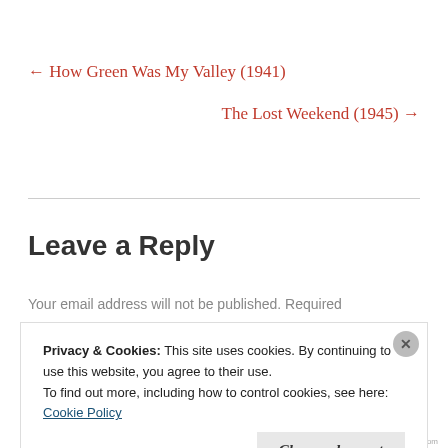← How Green Was My Valley (1941)
The Lost Weekend (1945) →
Leave a Reply
Your email address will not be published. Required
Privacy & Cookies: This site uses cookies. By continuing to use this website, you agree to their use.
To find out more, including how to control cookies, see here:
Cookie Policy
Close and accept